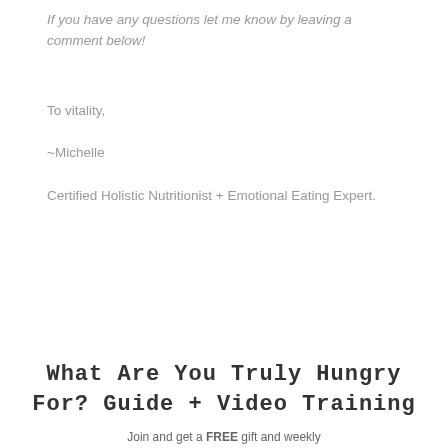If you have any questions let me know by leaving a comment below!
To vitality,
~Michelle
Certified Holistic Nutritionist + Emotional Eating Expert.
What Are You Truly Hungry For? Guide + Video Training
Join and get a FREE gift and weekly